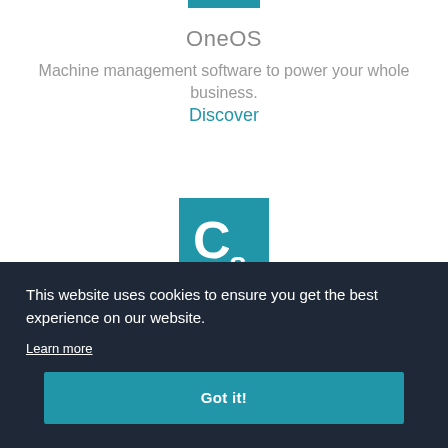[Figure (logo): Teal/blue horizontal bar accent at top]
OneOS
Machine management software to power your whole business.
Discover
[Figure (logo): Cs logo icon - teal square background with white C and s letters]
This website uses cookies to ensure you get the best experience on our website.
Learn more
Got it!
[Figure (logo): Partial logo at bottom of page, teal with white symbol, partially cut off]